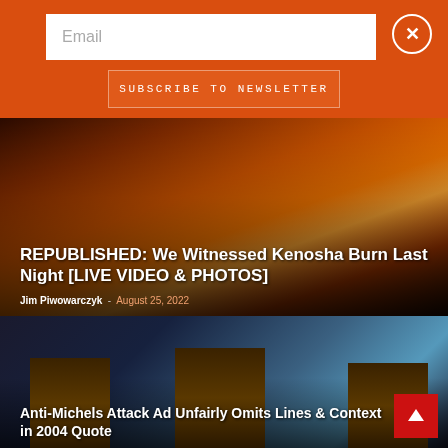[Figure (screenshot): Orange newsletter signup bar with email input field placeholder text 'Email', a close X button top right, and a 'Subscribe to Newsletter' button below.]
[Figure (photo): Nighttime photo of Kenosha burning with large orange fire and smoke visible against dark sky, people silhouetted in background.]
REPUBLISHED: We Witnessed Kenosha Burn Last Night [LIVE VIDEO & PHOTOS]
Jim Piwowarczyk  -  August 25, 2022
[Figure (photo): Three men in suits standing at debate podiums in front of blue curtain with Wisconsin flag visible on left side.]
Anti-Michels Attack Ad Unfairly Omits Lines & Context in 2004 Quote